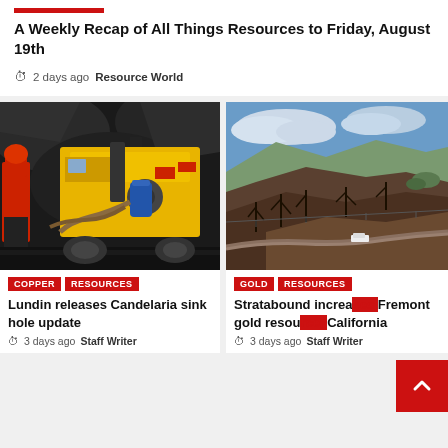A Weekly Recap of All Things Resources to Friday, August 19th
2 days ago  Resource World
[Figure (photo): Yellow mining truck/equipment inside a dark underground mine tunnel with a worker in red jacket visible on the left]
[Figure (photo): Landscape photo of a burnt hillside with sparse trees, blue sky with clouds above, and a white vehicle visible on a dirt road]
COPPER  RESOURCES
Lundin releases Candelaria sink hole update
3 days ago  Staff Writer
GOLD  RESOURCES
Stratabound increases Fremont gold resource, California
3 days ago  Staff Writer